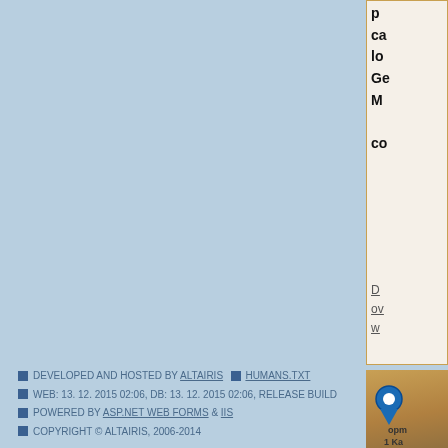[Figure (screenshot): Partial sidebar panel with cream/beige background and orange border, showing truncated bold text content (ca, lo, Ge, M, co) and truncated underlined link text (D, ov, w)]
[Figure (map): Partial Google Maps screenshot showing a map pin icon on a brownish/tan map background with text 'opm' and '1 Ka', a 'Use' button, and a link starting with www.pracovna.]
■ DEVELOPED AND HOSTED BY ALTAIRIS   ■ HUMANS.TXT
■ WEB: 13. 12. 2015 02:06, DB: 13. 12. 2015 02:06, RELEASE BUILD
■ POWERED BY ASP.NET WEB FORMS & IIS
■ COPYRIGHT © ALTAIRIS, 2006-2014